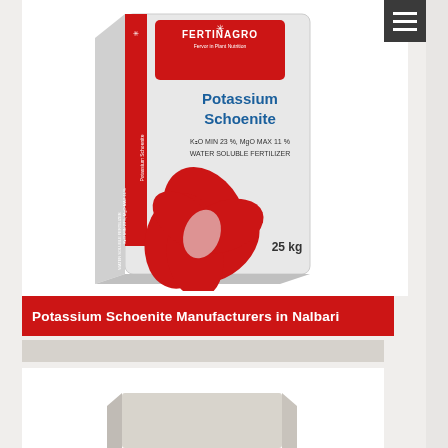[Figure (photo): Potassium Schoenite 25 kg bag by Fertinagro brand. White bag with red decorative leaf/flower design, red label at top with FERTINAGRO logo, text reading Potassium Schoenite, K2O MIN 23%, MgO MAX 11%, WATER SOLUBLE FERTILIZER, 25 kg]
Potassium Schoenite Manufacturers in Nalbari
[Figure (photo): Partial view of another product box at the bottom of the page]